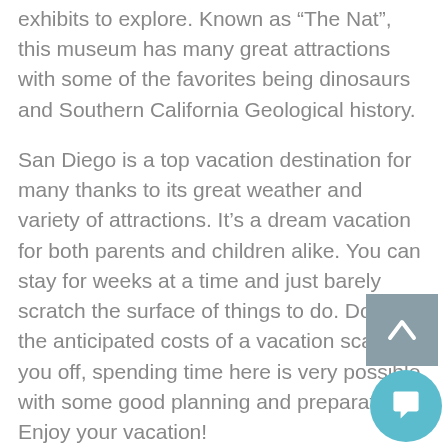exhibits to explore. Known as “The Nat”, this museum has many great attractions with some of the favorites being dinosaurs and Southern California Geological history.
San Diego is a top vacation destination for many thanks to its great weather and variety of attractions. It’s a dream vacation for both parents and children alike. You can stay for weeks at a time and just barely scratch the surface of things to do. Don’t let the anticipated costs of a vacation scare you off, spending time here is very possible with some good planning and preparation. Enjoy your vacation!
Don’t forget to let Sitterwise take care